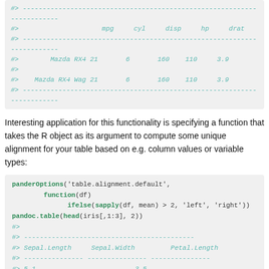[Figure (screenshot): Code output block showing a table with columns mpg, cyl, disp, hp, drat for Mazda RX4 and Mazda RX4 Wag rows]
Interesting application for this functionality is specifying a function that takes the R object as its argument to compute some unique alignment for your table based on e.g. column values or variable types:
[Figure (screenshot): Code block with panderOptions and pandoc.table calls, followed by output showing Sepal.Length, Sepal.Width, Petal.Length columns with values 5.1, 3.5, 1.4 and 4.9, 3, 1.4]